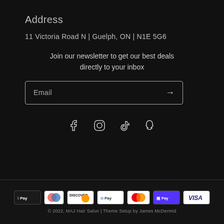Address
11 Victoria Road N | Guelph, ON | N1E 5G6
Join our newsletter to get our best deals directly to your inbox
[Figure (other): Email input field with arrow button]
[Figure (other): Social media icons: Facebook, Instagram, TikTok, Snapchat]
[Figure (other): Payment method icons: Apple Pay, Diners Club, Discover, Google Pay, Mastercard, Shop Pay, Visa]
© 2022, MAJ Hair Salon | Theme Setup by James McDermid